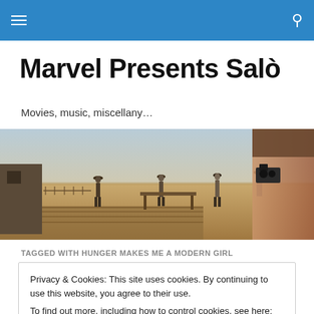Marvel Presents Salò
Marvel Presents Salò
Movies, music, miscellany…
[Figure (photo): A wide desert scene with figures standing near a table and structures, viewed from behind someone in the foreground.]
TAGGED WITH HUNGER MAKES ME A MODERN GIRL
Privacy & Cookies: This site uses cookies. By continuing to use this website, you agree to their use.
To find out more, including how to control cookies, see here: Cookie Policy
Close and accept